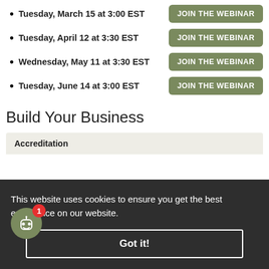Tuesday, March 15 at 3:00 EST  JOIN THE WEBINAR
Tuesday, April 12 at 3:30 EST  JOIN THE WEBINAR
Wednesday, May 11 at 3:30 EST  JOIN THE WEBINAR
Tuesday, June 14 at 3:00 EST  JOIN THE WEBINAR
Build Your Business
Accreditation
This website uses cookies to ensure you get the best experience on our website.
Got it!
Corporate Membership